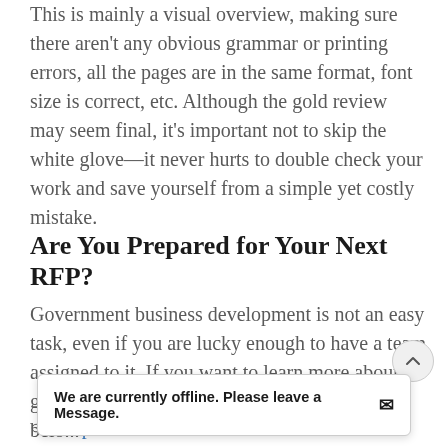This is mainly a visual overview, making sure there aren't any obvious grammar or printing errors, all the pages are in the same format, font size is correct, etc. Although the gold review may seem final, it's important not to skip the white glove—it never hurts to double check your work and save yourself from a simple yet costly mistake.
Are You Prepared for Your Next RFP?
Government business development is not an easy task, even if you are lucky enough to have a team assigned to it. If you want to learn more about government solicitations check out our blogs belo...
3 Tips f…